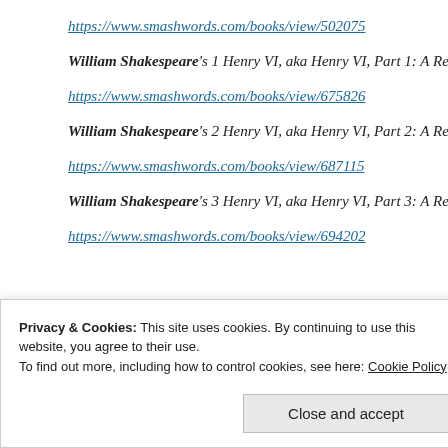https://www.smashwords.com/books/view/502075
William Shakespeare's 1 Henry VI, aka Henry VI, Part 1: A Rete…
https://www.smashwords.com/books/view/675826
William Shakespeare's 2 Henry VI, aka Henry VI, Part 2: A Rete…
https://www.smashwords.com/books/view/687115
William Shakespeare's 3 Henry VI, aka Henry VI, Part 3: A Rete…
https://www.smashwords.com/books/view/694202
Privacy & Cookies: This site uses cookies. By continuing to use this website, you agree to their use. To find out more, including how to control cookies, see here: Cookie Policy
Close and accept